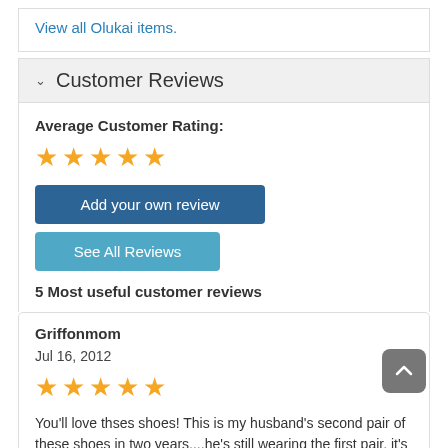View all Olukai items.
Customer Reviews
Average Customer Rating:
[Figure (other): 5 orange stars rating]
Add your own review
See All Reviews
5 Most useful customer reviews
Griffonmom
Jul 16, 2012
[Figure (other): 5 orange stars review rating]
You'll love thses shoes! This is my husband's second pair of these shoes in two years....he's still wearing the first pair, it's just that they are so comfortable he wears